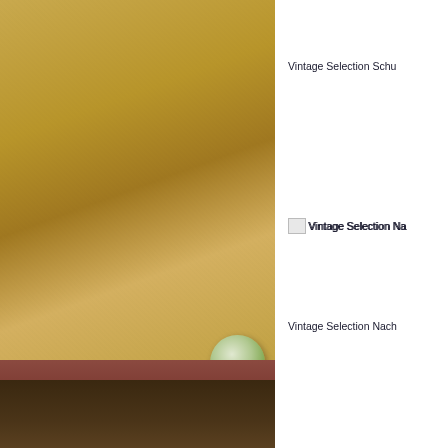[Figure (photo): Interior photo showing a textured golden-yellow wall with a decorative globe/crystal ball on a dark reddish-brown shelf, with a darker section below]
Vintage Selection Schu
[Figure (other): Broken image placeholder: Vintage Selection Na]
Vintage Selection Nach
[Figure (other): Broken image placeholder: Vintage Selection Le]
Vintage Selection Leite